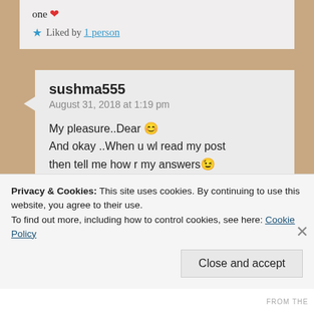one ❤
★ Liked by 1 person
sushma555
August 31, 2018 at 1:19 pm
My pleasure..Dear 😊
And okay ..When u wl read my post then tell me how r my answers 😉
★ Liked by 1 person
Privacy & Cookies: This site uses cookies. By continuing to use this website, you agree to their use.
To find out more, including how to control cookies, see here: Cookie Policy
Close and accept